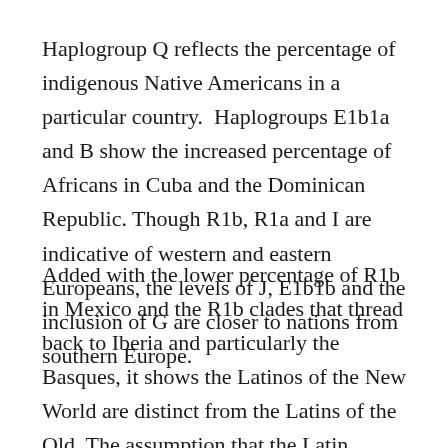Haplogroup Q reflects the percentage of indigenous Native Americans in a particular country. Haplogroups E1b1a and B show the increased percentage of Africans in Cuba and the Dominican Republic. Though R1b, R1a and I are indicative of western and eastern Europeans, the levels of J, E1b1b and the inclusion of G are closer to nations from southern Europe.
Added with the lower percentage of R1b in Mexico and the R1b clades that thread back to Iberia and particularly the Basques, it shows the Latinos of the New World are distinct from the Latins of the Old. The assumption that the Latin American peoples are the same as the people in Spain, has only led to confusion